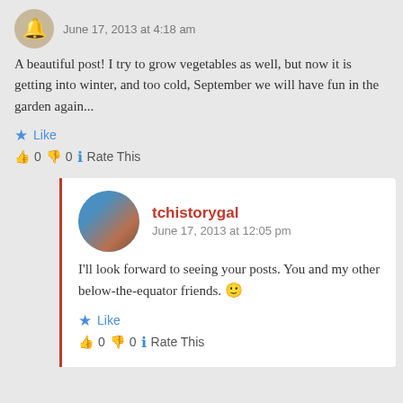June 17, 2013 at 4:18 am
A beautiful post! I try to grow vegetables as well, but now it is getting into winter, and too cold, September we will have fun in the garden again...
Like
👍 0 👎 0 ℹ Rate This
tchistorygal
June 17, 2013 at 12:05 pm
I'll look forward to seeing your posts. You and my other below-the-equator friends. 🙂
Like
👍 0 👎 0 ℹ Rate This